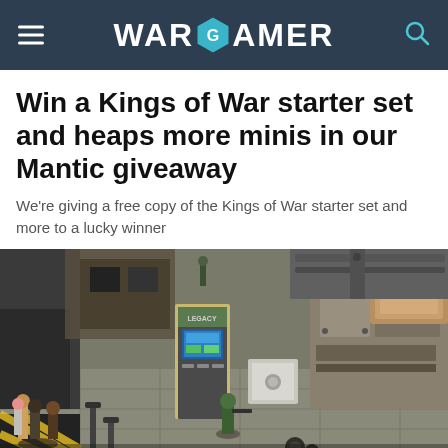WARGAMER
Win a Kings of War starter set and heaps more minis in our Mantic giveaway
We're giving a free copy of the Kings of War starter set and more to a lucky winner
[Figure (photo): Photograph of painted miniature figures on a detailed wargaming terrain board with sci-fi/urban scenery including crates, a vending machine labeled LEGACY, street elements, and various character miniatures]